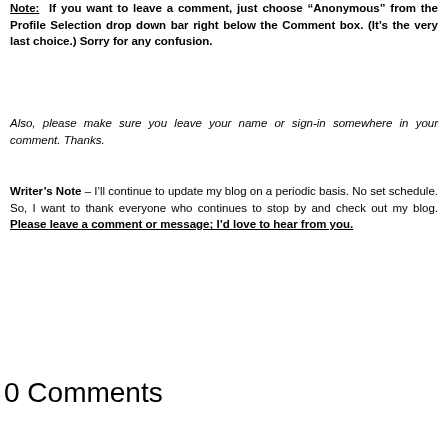Note: If you want to leave a comment, just choose "Anonymous" from the Profile Selection drop down bar right below the Comment box. (It's the very last choice.) Sorry for any confusion.
Also, please make sure you leave your name or sign-in somewhere in your comment. Thanks.
Writer's Note – I'll continue to update my blog on a periodic basis. No set schedule. So, I want to thank everyone who continues to stop by and check out my blog. Please leave a comment or message; I'd love to hear from you.
0 Comments